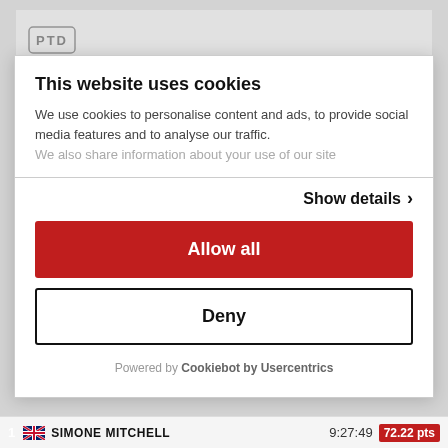[Figure (logo): PTD logo in top bar]
This website uses cookies
We use cookies to personalise content and ads, to provide social media features and to analyse our traffic. We also share information about your use of our site
Show details >
Allow all
Deny
Powered by Cookiebot by Usercentrics
1  SIMONE MITCHELL  9:27:49  72.22 pts